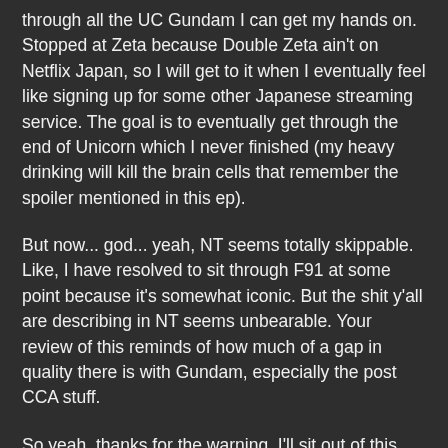through all the UC Gundam I can get my hands on. Stopped at Zeta because Double Zeta ain't on Netflix Japan, so I will get to it when I eventually feel like signing up for some other Japanese streaming service. The goal is to eventually get through the end of Unicorn which I never finished (my heavy drinking will kill the brain cells that remember the spoiler mentioned in this ep).
But now... god... yeah, NT seems totally skippable. Like, I have resolved to sit through F91 at some point because it's somewhat iconic. But the shit y'all are describing in NT seems unbearable. Your review of this reminds of how much of a gap in quality there is with Gundam, especially the post CCA stuff.
So yeah, thanks for the warning. I'll sit out of this